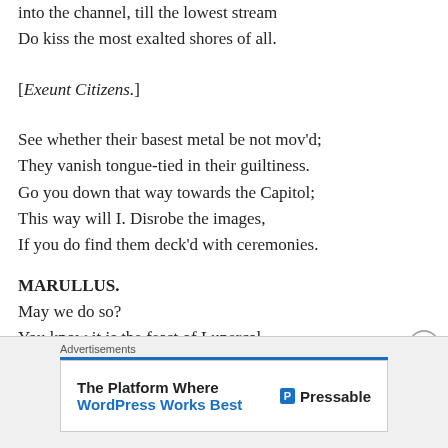into the channel, till the lowest stream
Do kiss the most exalted shores of all.
[Exeunt Citizens.]
See whether their basest metal be not mov'd;
They vanish tongue-tied in their guiltiness.
Go you down that way towards the Capitol;
This way will I. Disrobe the images,
If you do find them deck'd with ceremonies.
MARULLUS.
May we do so?
You know it is the feast of Lupercal.
[Figure (other): Advertisement banner: 'The Platform Where WordPress Works Best' by Pressable]